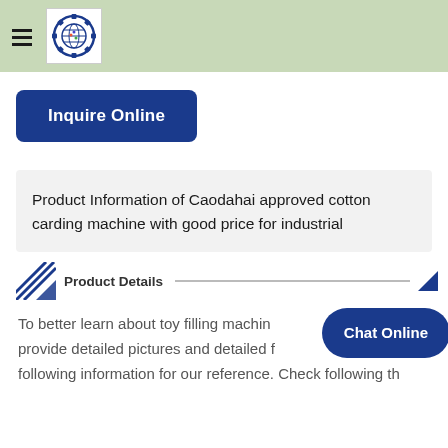[Figure (logo): Gear and globe logo icon in a white box on a light green header bar with a hamburger menu icon]
[Figure (other): Dark blue 'Inquire Online' button]
Product Information of Caodahai approved cotton carding machine with good price for industrial
Product Details
To better learn about toy filling machine, provide detailed pictures and detailed following information for our reference. Check following the
[Figure (other): Dark blue rounded 'Chat Online' button overlay]